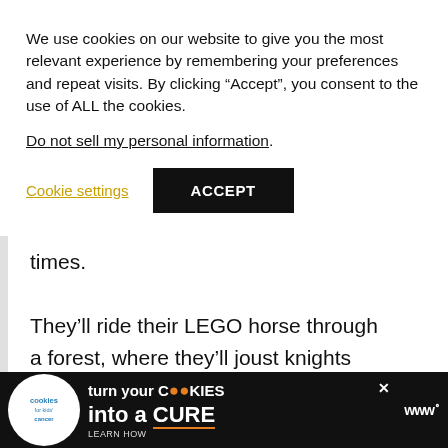We use cookies on our website to give you the most relevant experience by remembering your preferences and repeat visits. By clicking “Accept”, you consent to the use of ALL the cookies.
Do not sell my personal information.
Cookie settings
ACCEPT
times.
They’ll ride their LEGO horse through a forest, where they’ll joust knights and run into some interesting creatures along the way. This is a mu for preschoolers visiting LEGOLAND Florida.
The Forestman’s Hideout
[Figure (screenshot): Advertisement banner for cookies for kids cancer: turn your COOKIES into a CURE LEARN HOW]